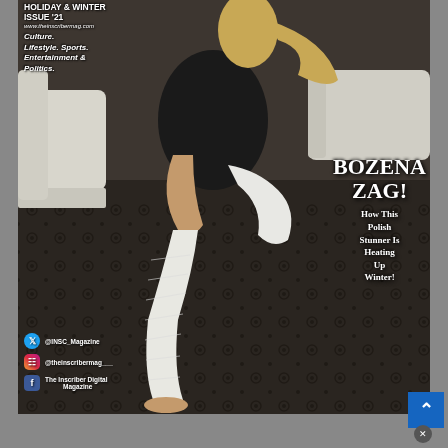[Figure (photo): Magazine cover of The Inscriber Digital Magazine, Holiday & Winter Issue 2021. A blonde woman wearing a black leather jacket and white pants sits on a white sofa, with white leg wraps/bandages. The background shows a dark decorative carpet pattern. Text overlays include the magazine tagline and social media handles.]
HOLIDAY & WINTER ISSUE '21
www.theinscribermag.com
Culture. Lifestyle. Sports. Entertainment & Politics.
BOZENA ZAG!
How This Polish Stunner Is Heating Up Winter!
@INSC_Magazine
@theinscribermag___
The Inscriber Digital Magazine